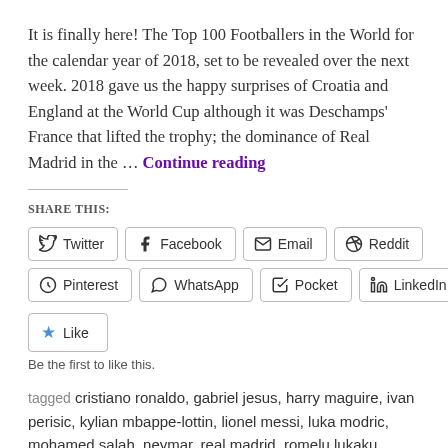It is finally here! The Top 100 Footballers in the World for the calendar year of 2018, set to be revealed over the next week. 2018 gave us the happy surprises of Croatia and England at the World Cup although it was Deschamps' France that lifted the trophy; the dominance of Real Madrid in the … Continue reading
SHARE THIS:
Twitter Facebook Email Reddit Pinterest WhatsApp Pocket LinkedIn
Like
Be the first to like this.
tagged cristiano ronaldo, gabriel jesus, harry maguire, ivan perisic, kylian mbappe-lottin, lionel messi, luka modric, mohamed salah, neymar, real madrid, romelu lukaku, samuel